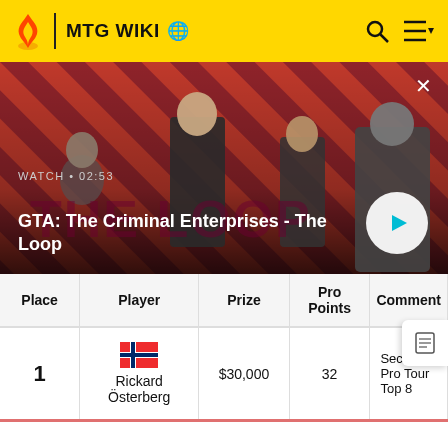MTG WIKI
[Figure (screenshot): GTA: The Criminal Enterprises - The Loop video thumbnail with characters on red striped background. Shows WATCH • 02:53 label and play button.]
GTA: The Criminal Enterprises - The Loop
| Place | Player | Prize | Pro Points | Comment |
| --- | --- | --- | --- | --- |
| 1 | 🇳🇴 Rickard Österberg | $30,000 | 32 | Second Pro Tour Top 8 |